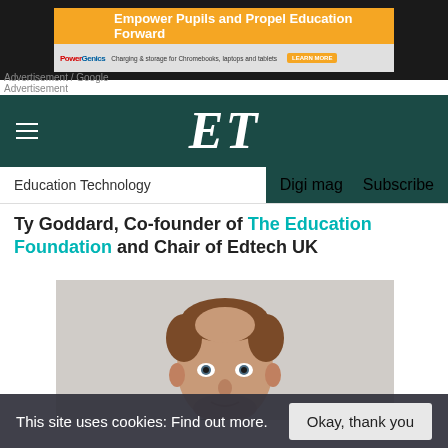[Figure (screenshot): Advertisement banner: orange bar with text 'Empower Pupils and Propel Education Forward', PowerGenics logo below with tagline 'Charging & storage for Chromebooks, laptops and tablets' and a Learn More button. 'Advertisement / Google' text overlay.]
Advertisement
[Figure (logo): ET (Education Technology) logo in white italic serif font on dark green navigation bar with hamburger menu icon on the left.]
Education Technology    Digi mag    Subscribe
Ty Goddard, Co-founder of The Education Foundation and Chair of Edtech UK
[Figure (photo): Headshot photo of Ty Goddard, a man with short reddish-brown hair and stubble, wearing a dark top, against a light grey background.]
This site uses cookies: Find out more.    Okay, thank you